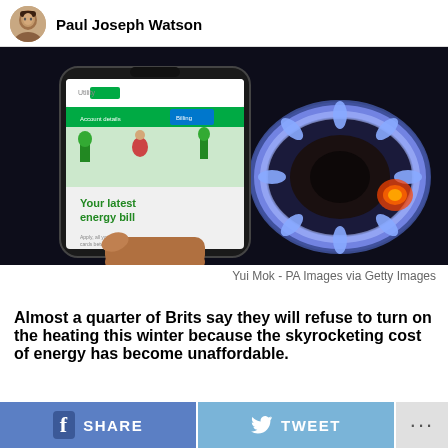Paul Joseph Watson
[Figure (photo): A hand holding a smartphone showing an energy bill app screen with 'Your latest energy bill' text, with a blue gas flame burner glowing in the background.]
Yui Mok - PA Images via Getty Images
Almost a quarter of Brits say they will refuse to turn on the heating this winter because the skyrocketing cost of energy has become unaffordable.
SHARE   TWEET   ...